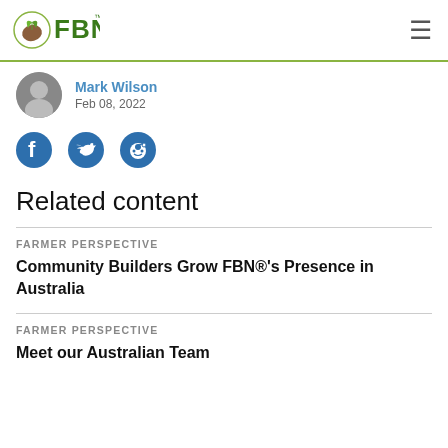FBN
Mark Wilson
Feb 08, 2022
[Figure (logo): Social share icons: Facebook, Twitter, Reddit]
Related content
FARMER PERSPECTIVE
Community Builders Grow FBN®'s Presence in Australia
FARMER PERSPECTIVE
Meet our Australian Team